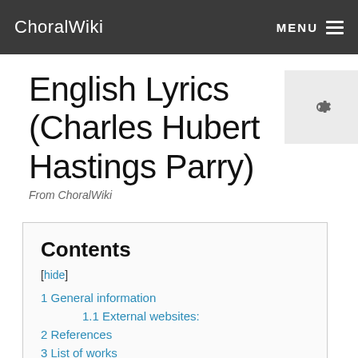ChoralWiki  MENU
English Lyrics (Charles Hubert Hastings Parry)
From ChoralWiki
Contents
[hide]
1 General information
1.1 External websites:
2 References
3 List of works
4 Works at CPDL
4.1 Set 1 (1885)